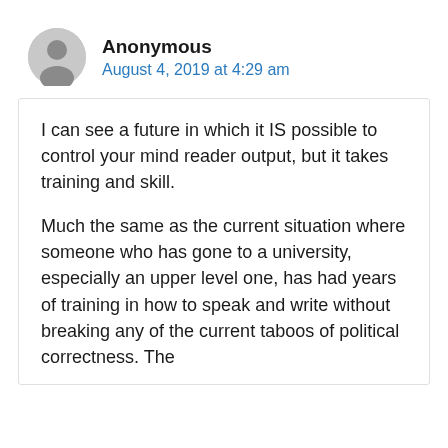Anonymous
August 4, 2019 at 4:29 am
I can see a future in which it IS possible to control your mind reader output, but it takes training and skill.
Much the same as the current situation where someone who has gone to a university, especially an upper level one, has had years of training in how to speak and write without breaking any of the current taboos of political correctness. The